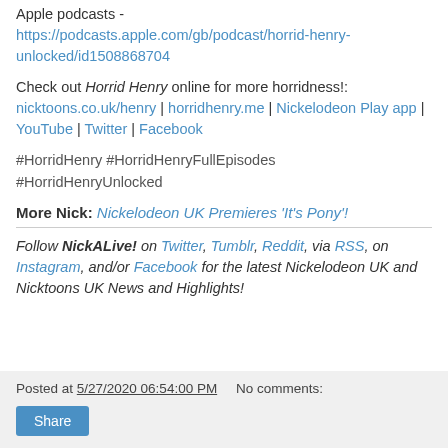Apple podcasts - https://podcasts.apple.com/gb/podcast/horrid-henry-unlocked/id1508868704
Check out Horrid Henry online for more horridness!: nicktoons.co.uk/henry | horridhenry.me | Nickelodeon Play app | YouTube | Twitter | Facebook
#HorridHenry #HorridHenryFullEpisodes #HorridHenryUnlocked
More Nick: Nickelodeon UK Premieres 'It's Pony'!
Follow NickALive! on Twitter, Tumblr, Reddit, via RSS, on Instagram, and/or Facebook for the latest Nickelodeon UK and Nicktoons UK News and Highlights!
Posted at 5/27/2020 06:54:00 PM   No comments:
Share